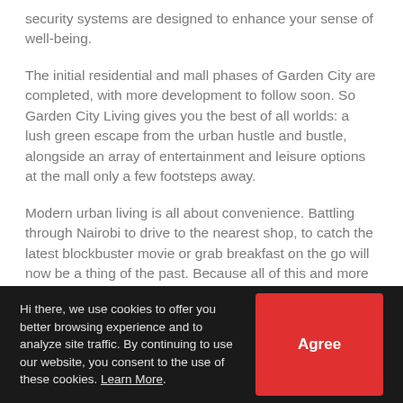security systems are designed to enhance your sense of well-being.
The initial residential and mall phases of Garden City are completed, with more development to follow soon. So Garden City Living gives you the best of all worlds: a lush green escape from the urban hustle and bustle, alongside an array of entertainment and leisure options at the mall only a few footsteps away.
Modern urban living is all about convenience. Battling through Nairobi to drive to the nearest shop, to catch the latest blockbuster movie or grab breakfast on the go will now be a thing of the past. Because all of this and more is within easy reach when you choose Garden City Living.
Hi there, we use cookies to offer you better browsing experience and to analyze site traffic. By continuing to use our website, you consent to the use of these cookies. Learn More.